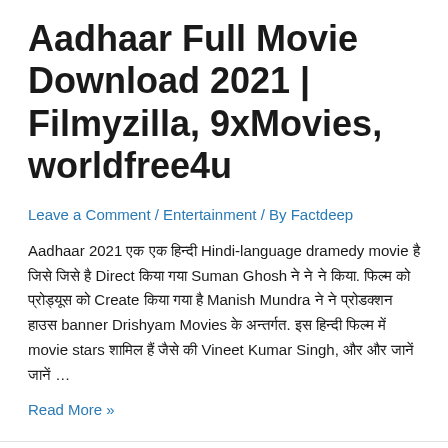Aadhaar Full Movie Download 2021 | Filmyzilla, 9xMovies, worldfree4u
Leave a Comment / Entertainment / By Factdeep
Aadhaar 2021 एक एक हिंदी Hindi-language dramedy movie है जिसे जिसे है Direct किया गया Suman Ghosh ने ने ने किया. फिल्म को प्रोड्यूस को Create किया गया है Manish Mundra ने ने प्रोडक्शन हाउस banner Drishyam Movies के अन्तर्गत. इस हिंदी फिल्म में movie stars शामिल हैं जैसे की Vineet Kumar Singh, और और जानें जानें …
Read More »
1 2 … 6 Next Page →
Search